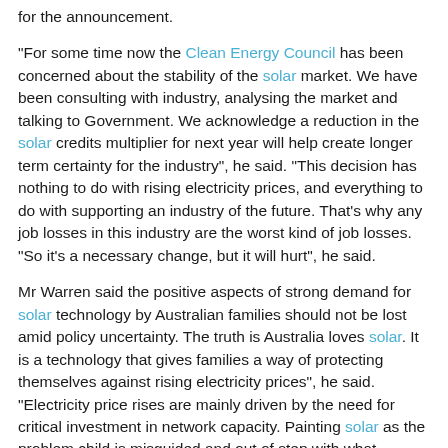for the announcement.
"For some time now the Clean Energy Council has been concerned about the stability of the solar market. We have been consulting with industry, analysing the market and talking to Government. We acknowledge a reduction in the solar credits multiplier for next year will help create longer term certainty for the industry", he said. "This decision has nothing to do with rising electricity prices, and everything to do with supporting an industry of the future. That's why any job losses in this industry are the worst kind of job losses. "So it's a necessary change, but it will hurt", he said.
Mr Warren said the positive aspects of strong demand for solar technology by Australian families should not be lost amid policy uncertainty. The truth is Australia loves solar. It is a technology that gives families a way of protecting themselves against rising electricity prices", he said. "Electricity price rises are mainly driven by the need for critical investment in network capacity. Painting solar as the problem child is misguided and out of step with what Australians are telling us through their purchasing decisions.